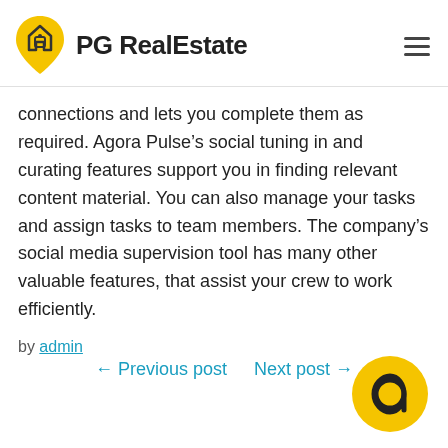PG RealEstate
connections and lets you complete them as required. Agora Pulse’s social tuning in and curating features support you in finding relevant content material. You can also manage your tasks and assign tasks to team members. The company’s social media supervision tool has many other valuable features, that assist your crew to work efficiently.
by admin
← Previous post   Next post →